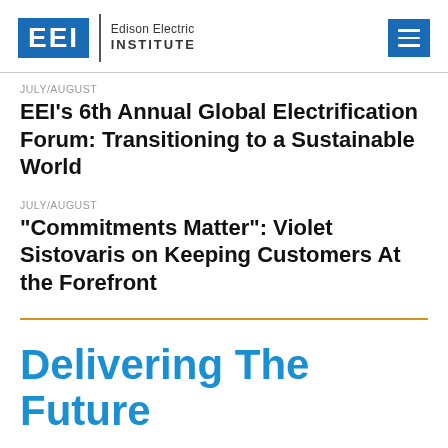EEI Edison Electric Institute
JULY/AUGUST
EEI’s 6th Annual Global Electrification Forum: Transitioning to a Sustainable World
JULY/AUGUST
“Commitments Matter”: Violet Sistovaris on Keeping Customers At the Forefront
Delivering The Future